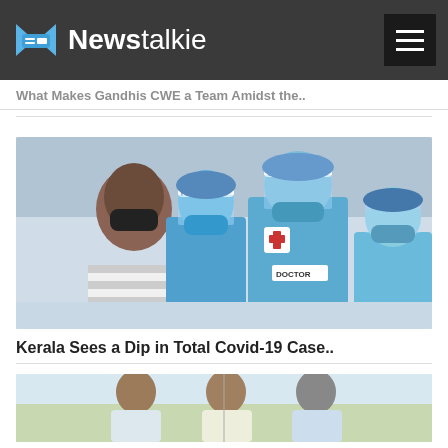Newstalkie
What Makes Gandhis CWE a Team Amidst the..
[Figure (photo): Healthcare workers in blue PPE suits and face shields with a patient wearing a black mask in a COVID-19 setting]
Kerala Sees a Dip in Total Covid-19 Case..
[Figure (photo): Partial view of people, bottom of page cropped]